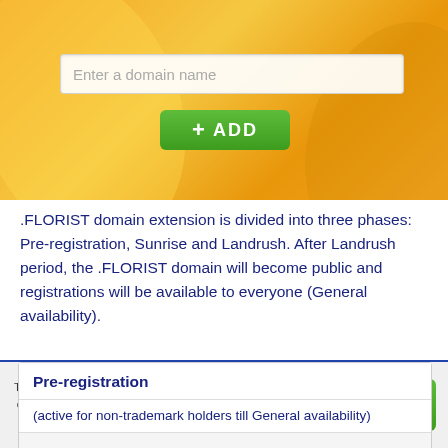[Figure (screenshot): Orange gradient banner with a domain name search input field and green ADD button]
.FLORIST domain extension is divided into three phases: Pre-registration, Sunrise and Landrush. After Landrush period, the .FLORIST domain will become public and registrations will be available to everyone (General availability).
Pre-registration
(active for non-trademark holders till General availability)
A free and non-binding way to get a head start securing the new domain name. Indication of an interest in a given domain and eventually registering name(s) in .FLORIST
This site uses cookies to provide a better experience. Some of the cookies used are essential for parts of the site to operate. Please read our Cookie Policy for more details. Click to accept.